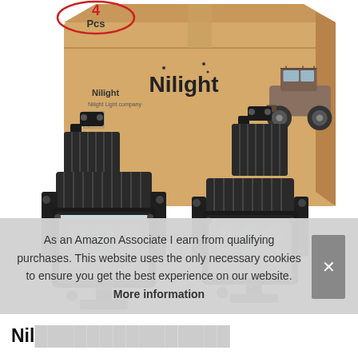[Figure (photo): Product photo of Nilight 4-pack LED work lights. Shows a tan cardboard box labeled 'Nilight' with an off-road truck graphic, and four black square LED pod lights with 6 LEDs each arranged in front of the box. Red circled '4 Pcs' label in upper left corner.]
As an Amazon Associate I earn from qualifying purchases. This website uses the only necessary cookies to ensure you get the best experience on our website. More information
Nil...